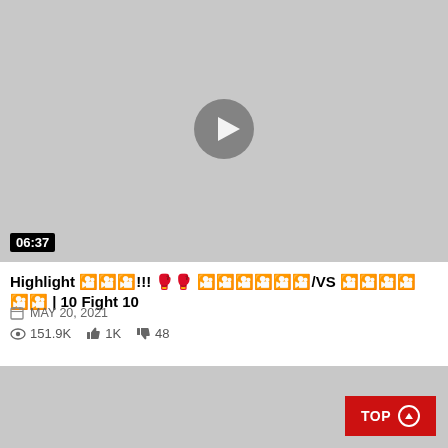[Figure (screenshot): Video thumbnail placeholder — grey rectangle with a circular play button in the center and a duration badge '06:37' in the bottom-left corner]
Highlight 🎬🎬🎬!!! 🥊🥊 🎬🎬🎬🎬🎬🎬/VS 🎬🎬🎬🎬🎬🎬 | 10 Fight 10
MAY 20, 2021
151.9K  1K  48
[Figure (screenshot): Second video thumbnail placeholder — grey rectangle with a red 'TOP ↑' button in the bottom-right corner]